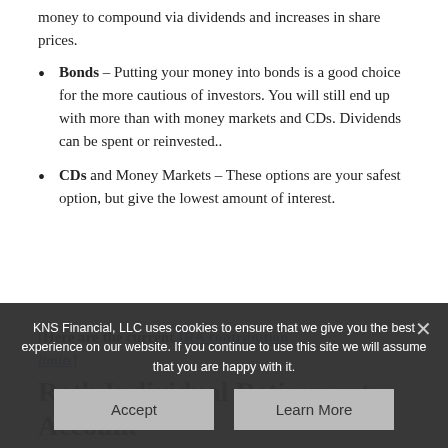money to compound via dividends and increases in share prices.
Bonds – Putting your money into bonds is a good choice for the more cautious of investors. You will still end up with more than with money markets and CDs. Dividends can be spent or reinvested..
CDs and Money Markets – These options are your safest option, but give the lowest amount of interest.
[Here are the current IRA contribution limits]
Roth Individual Retirement Account
A Roth IRA is another type of retirement plan
KNS Financial, LLC uses cookies to ensure that we give you the best experience on our website. If you continue to use this site we will assume that you are happy with it.